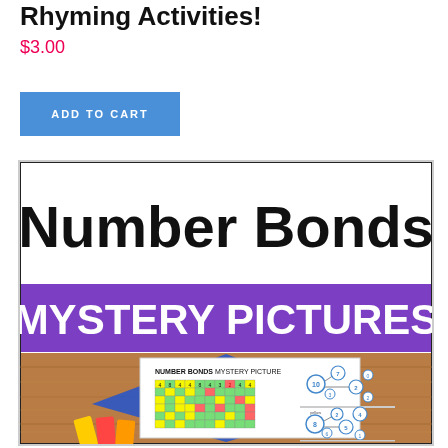Rhyming Activities!
$3.00
ADD TO CART
[Figure (illustration): Product thumbnail showing 'Number Bonds Mystery Pictures' educational worksheet with colorful grid and number bond diagrams on a wood-grain background with blue diamond shape and crayons.]